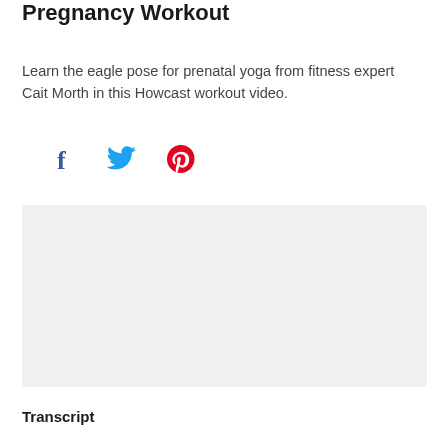Pregnancy Workout
Learn the eagle pose for prenatal yoga from fitness expert Cait Morth in this Howcast workout video.
[Figure (infographic): Social media share icons: Facebook (f), Twitter (bird), Pinterest (p)]
[Figure (screenshot): Video player placeholder with light gray background]
Transcript